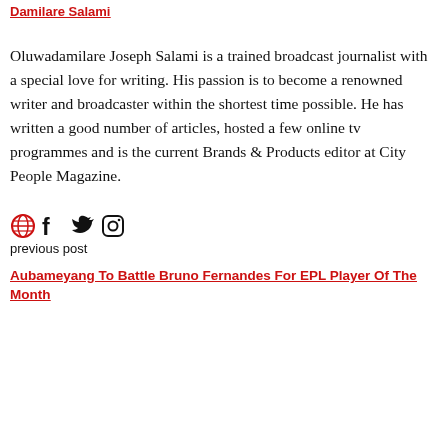Damilare Salami
Oluwadamilare Joseph Salami is a trained broadcast journalist with a special love for writing. His passion is to become a renowned writer and broadcaster within the shortest time possible. He has written a good number of articles, hosted a few online tv programmes and is the current Brands & Products editor at City People Magazine.
[Figure (other): Social media icons: globe/web, Facebook, Twitter, Instagram]
previous post
Aubameyang To Battle Bruno Fernandes For EPL Player Of The Month